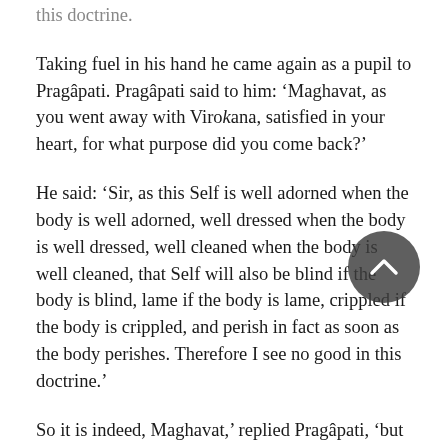this doctrine.
Taking fuel in his hand he came again as a pupil to Pragâpati. Pragâpati said to him: ‘Maghavat, as you went away with Virokana, satisfied in your heart, for what purpose did you come back?’
He said: ‘Sir, as this Self is well adorned when the body is well adorned, well dressed when the body is well dressed, well cleaned when the body is well cleaned, that Self will also be blind if the body is blind, lame if the body is lame, crippled if the body is crippled, and perish in fact as soon as the body perishes. Therefore I see no good in this doctrine.’
So it is indeed, Maghavat,’ replied Pragâpati, ‘but I shall explain him (the true Self) further to you. Live with me another thirty-two years.’ He lived with him